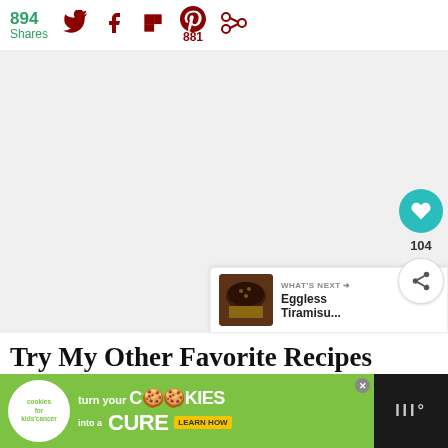894 Shares | Twitter | Facebook | Flipboard | Pinterest 881 | Other
[Figure (photo): Large main content image area (blank/white placeholder)]
[Figure (infographic): Floating action buttons: heart/like button (teal circle, 104 likes) and share button (white circle)]
[Figure (infographic): What's Next panel: Eggless Tiramisu... with chocolate cake thumbnail]
Try My Other Favorite Recipes
[Figure (infographic): Advertisement banner: Cookies for Kids Cancer - turn your COOKIES into a CURE LEARN HOW]